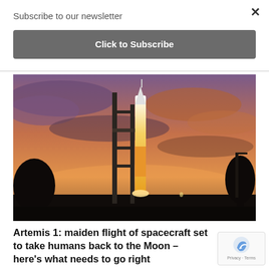Subscribe to our newsletter
Click to Subscribe
[Figure (photo): Artemis 1 rocket on launch pad at sunset with orange and purple sky, illuminated rocket with launch tower silhouetted against dramatic clouds]
Artemis 1: maiden flight of spacecraft set to take humans back to the Moon – here's what needs to go right